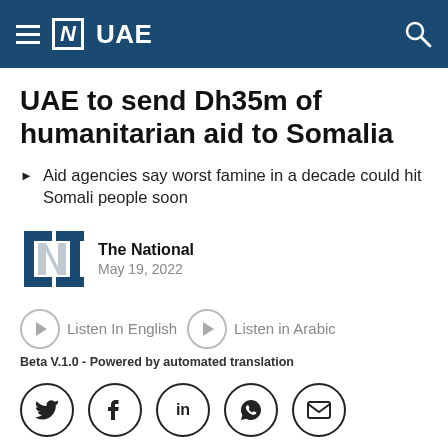UAE
UAE to send Dh35m of humanitarian aid to Somalia
Aid agencies say worst famine in a decade could hit Somali people soon
The National
May 19, 2022
Listen In English   Listen in Arabic
Beta V.1.0 - Powered by automated translation